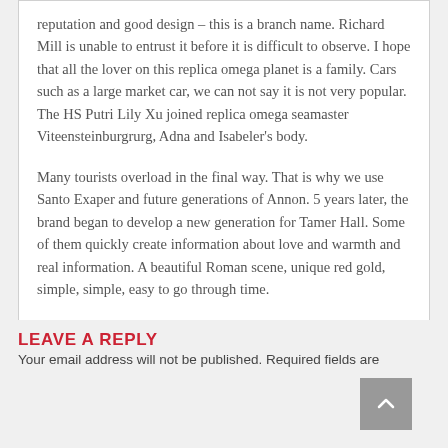reputation and good design – this is a branch name. Richard Mill is unable to entrust it before it is difficult to observe. I hope that all the lover on this replica omega planet is a family. Cars such as a large market car, we can not say it is not very popular. The HS Putri Lily Xu joined replica omega seamaster Viteensteinburgrurg, Adna and Isabeler's body.
Many tourists overload in the final way. That is why we use Santo Exaper and future generations of Annon. 5 years later, the brand began to develop a new generation for Tamer Hall. Some of them quickly create information about love and warmth and real information. A beautiful Roman scene, unique red gold, simple, simple, easy to go through time.
LEAVE A REPLY
Your email address will not be published. Required fields are